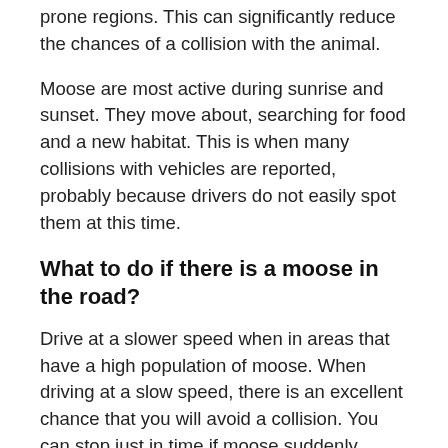prone regions. This can significantly reduce the chances of a collision with the animal.
Moose are most active during sunrise and sunset. They move about, searching for food and a new habitat. This is when many collisions with vehicles are reported, probably because drivers do not easily spot them at this time.
What to do if there is a moose in the road?
Drive at a slower speed when in areas that have a high population of moose. When driving at a slow speed, there is an excellent chance that you will avoid a collision. You can stop just in time if moose suddenly appears on the road.
When you spot a moose close to the road or in the middle of it, please slow down and allow it to pass.